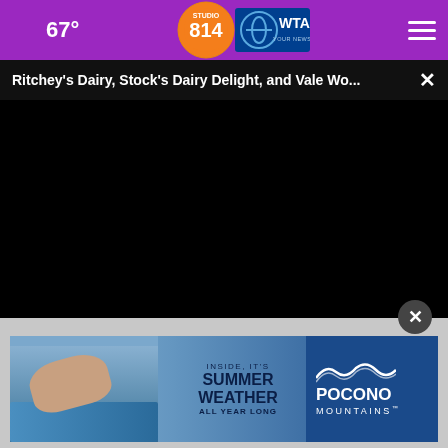67° [moon icon] | Studio 814 / OWTAJ Your News Leader | [hamburger menu]
Ritchey's Dairy, Stock's Dairy Delight, and Vale Wo...
[Figure (screenshot): Black video player area with progress bar and controls showing play button, mute button, time 00:00, captions button, and fullscreen button]
Plaque Psoriasis Treatment | S
[Figure (photo): Advertisement banner for Pocono Mountains showing a swimmer with text: INSIDE, IT'S SUMMER WEATHER ALL YEAR LONG, POCONO MOUNTAINS]